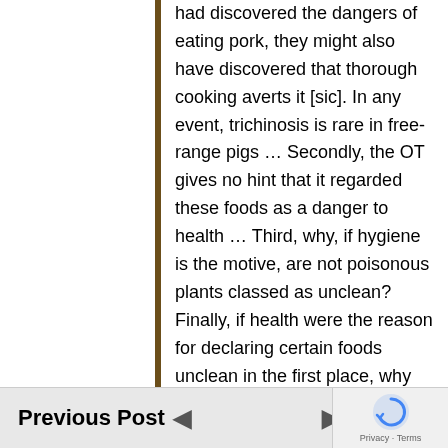had discovered the dangers of eating pork, they might also have discovered that thorough cooking averts it [sic]. In any event, trichinosis is rare in free-range pigs … Secondly, the OT gives no hint that it regarded these foods as a danger to health … Third, why, if hygiene is the motive, are not poisonous plants classed as unclean? Finally, if health were the reason for declaring certain foods unclean in the first place, why did our Lord pronounce them clean in his day [Mark 7:19]? Evidence is lacking that the Middle Eastern understanding of hygiene had advanced so far by the first century A.D. that the Levitical laws were unnecessary. Indeed, if the primary purpose of the food laws was hygienic, it is surprising that Jesus abolished them.²⁵
Previous Post  |  Next Post